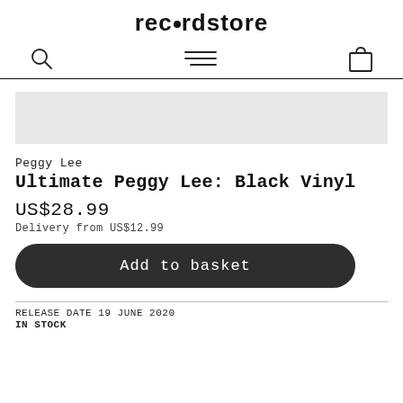rec•rdstore
[Figure (logo): Search icon, hamburger menu icon, and shopping bag icon in nav bar]
[Figure (photo): Grey placeholder image area for product photo]
Peggy Lee
Ultimate Peggy Lee: Black Vinyl
US$28.99
Delivery from US$12.99
Add to basket
RELEASE DATE 19 JUNE 2020
IN STOCK